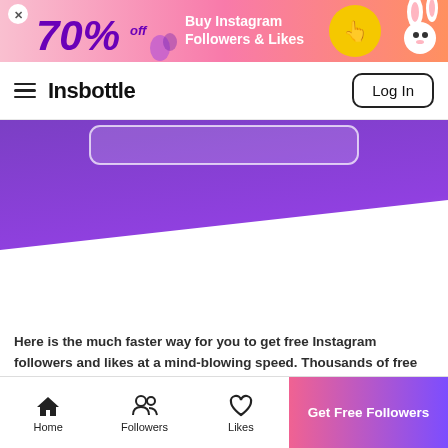[Figure (infographic): Ad banner: pink-orange gradient background with '70% off' in purple bold italic text, 'Buy Instagram Followers & Likes' in white text, yellow circular button with finger pointer icon, decorative bunny and Easter egg illustrations]
Insbottle  Log In
[Figure (infographic): Purple gradient hero section with partially visible input box and white diagonal cut at the bottom]
Here is the much faster way for you to get free Instagram followers and likes at a mind-blowing speed. Thousands of free followers or likes could reach your account/post within moments by this brilliant way which is to use Insbottle. This reputational free Instagram followers app has won millions of IG users' hearts
Home  Followers  Likes  Get Free Followers